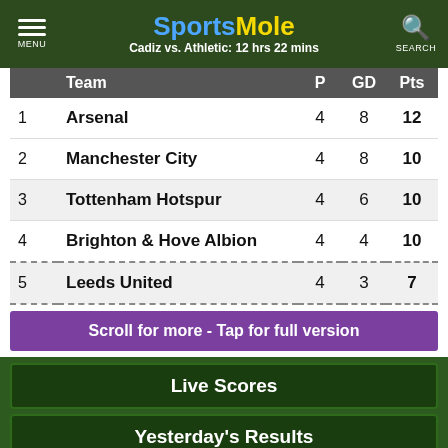SportsMole — Cadiz vs. Athletic: 12 hrs 22 mins
|  | Team | P | GD | Pts |
| --- | --- | --- | --- | --- |
| 1 | Arsenal | 4 | 8 | 12 |
| 2 | Manchester City | 4 | 8 | 10 |
| 3 | Tottenham Hotspur | 4 | 6 | 10 |
| 4 | Brighton & Hove Albion | 4 | 4 | 10 |
| 5 | Leeds United | 4 | 3 | 7 |
Scroll for more - Tap for full version
Live Scores
Yesterday's Results
Premier League Stats
Football
F1